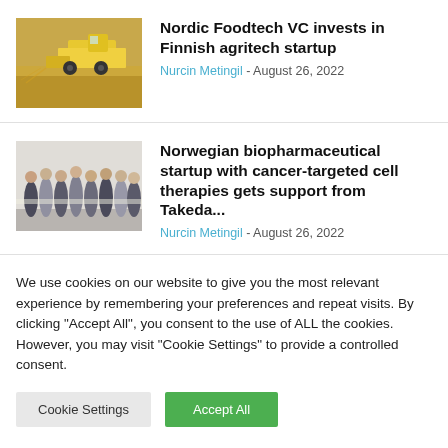[Figure (photo): Aerial view of a yellow combine harvester working in a golden grain field]
Nordic Foodtech VC invests in Finnish agritech startup
Nurcin Metingil - August 26, 2022
[Figure (photo): Group photo of people standing together in an indoor setting, appears to be a company/team photo]
Norwegian biopharmaceutical startup with cancer-targeted cell therapies gets support from Takeda...
Nurcin Metingil - August 26, 2022
We use cookies on our website to give you the most relevant experience by remembering your preferences and repeat visits. By clicking "Accept All", you consent to the use of ALL the cookies. However, you may visit "Cookie Settings" to provide a controlled consent.
Cookie Settings | Accept All